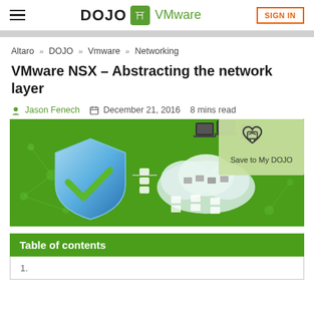DOJO VMware | SIGN IN
Altaro » DOJO » Vmware » Networking
VMware NSX – Abstracting the network layer
Jason Fenech   December 21, 2016   8 mins read
[Figure (illustration): Hero image showing a network diagram with a blue security shield checkmark on the left, cloud infrastructure icons in the center, laptops on top connected to server icons, all on a green background. A 'Save to My DOJO' button with a heart icon is in the top-right corner.]
Table of contents
1.